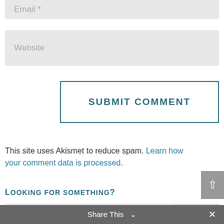Email *
Website
SUBMIT COMMENT
This site uses Akismet to reduce spam. Learn how your comment data is processed.
Looking for something?
Search
Share This  ×